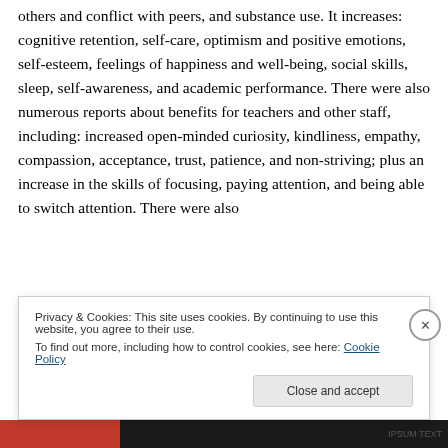others and conflict with peers, and substance use. It increases: cognitive retention, self-care, optimism and positive emotions, self-esteem, feelings of happiness and well-being, social skills, sleep, self-awareness, and academic performance. There were also numerous reports about benefits for teachers and other staff, including: increased open-minded curiosity, kindliness, empathy, compassion, acceptance, trust, patience, and non-striving; plus an increase in the skills of focusing, paying attention, and being able to switch attention. There were also
Privacy & Cookies: This site uses cookies. By continuing to use this website, you agree to their use.
To find out more, including how to control cookies, see here: Cookie Policy